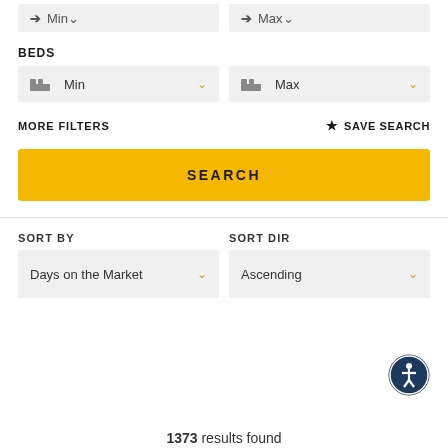[Figure (screenshot): Partially visible Min/Max price dropdown inputs at top of page]
BEDS
[Figure (screenshot): Beds Min dropdown selector with bed icon and gold chevron]
[Figure (screenshot): Beds Max dropdown selector with bed icon and gold chevron]
MORE FILTERS
SAVE SEARCH
SEARCH
SORT BY
SORT DIR
Days on the Market
Ascending
1373 results found